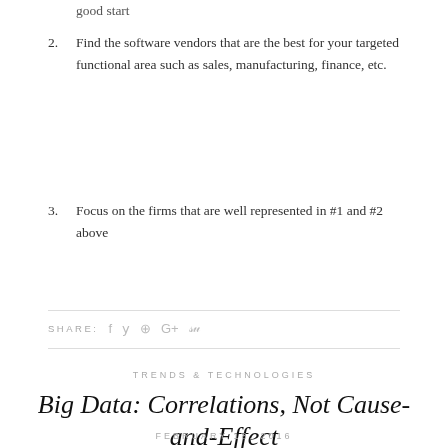good start
2. Find the software vendors that are the best for your targeted functional area such as sales, manufacturing, finance, etc.
3. Focus on the firms that are well represented in #1 and #2 above
SHARE:
TRENDS & TECHNOLOGIES
Big Data: Correlations, Not Cause-and-Effect
FEBRUARY 18, 2016